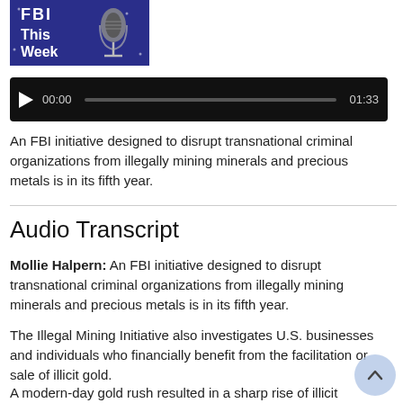[Figure (photo): FBI This Week podcast thumbnail with microphone on dark blue/purple background with text 'FBI This Week']
[Figure (other): Audio player bar showing play button, timestamp 00:00, progress bar, and end time 01:33 on black background]
An FBI initiative designed to disrupt transnational criminal organizations from illegally mining minerals and precious metals is in its fifth year.
Audio Transcript
Mollie Halpern: An FBI initiative designed to disrupt transnational criminal organizations from illegally mining minerals and precious metals is in its fifth year.
The Illegal Mining Initiative also investigates U.S. businesses and individuals who financially benefit from the facilitation or sale of illicit gold.
A modern-day gold rush resulted in a sharp rise of illicit mining operations and hired criminal organizations...